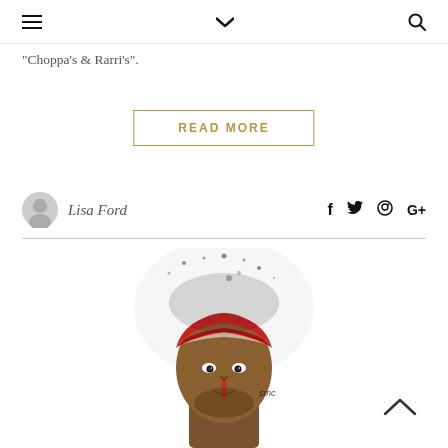≡  ∨  🔍
"Choppa's & Rarri's".
READ MORE
Lisa Ford
[Figure (illustration): Stylized graffiti-art illustration of a man wearing a red bandana headband, rendered in black, brown, and red tones with ink splatter effects. Signature 'smc' visible on the image.]